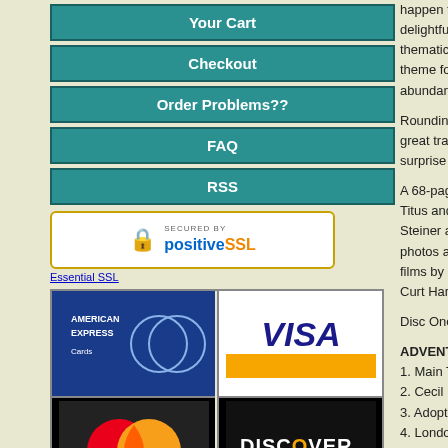Your Cart
Checkout
Order Problems??
FAQ
RSS
[Figure (logo): Secured by positiveSSL badge with padlock icon]
Essential SSL
[Figure (logo): Payment card logos: American Express, Visa, MasterCard, Discover]
[Figure (logo): Payments by PayPal logo]
happen to delightful thematic m theme for abundance Rounding great traile surprise tr A 68-page, Titus and f Steiner arc photos and films by hi Curt Harda Disc One: ADVENTU 1. Main Tit 2. Cecil Re 3. Adopting 4. London 5. Minuet / 6. The Imp 7. Sent Ho 8. Don Jua 9. Battle w 10. His Maj 11. Queen 12. Juan P